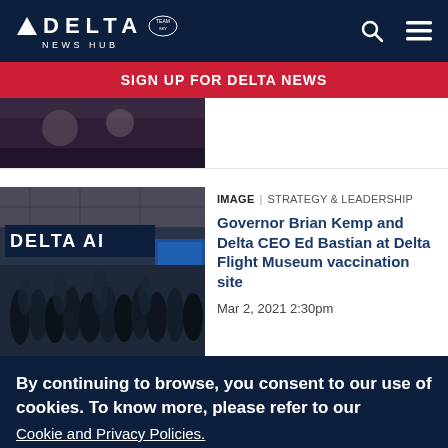DELTA NEWS HUB
SIGN UP FOR DELTA NEWS
[Figure (photo): Partially visible cropped photo at top of page]
[Figure (photo): Photo of people inside Delta Air Lines hangar/museum building with crowd in foreground and Delta signage]
IMAGE | STRATEGY & LEADERSHIP
Governor Brian Kemp and Delta CEO Ed Bastian at Delta Flight Museum vaccination site
Mar 2, 2021 2:30pm
By continuing to browse, you consent to our use of cookies. To know more, please refer to our
Cookie and Privacy Policies.
I AGREE
No, thanks